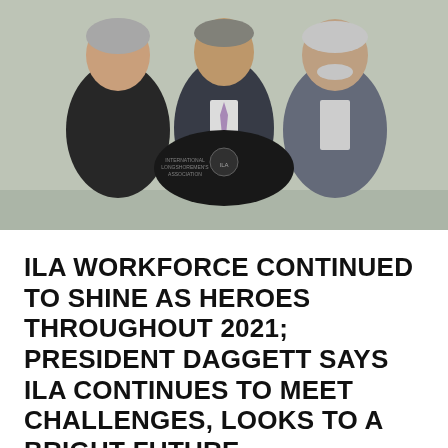[Figure (photo): Three men standing together, the center man holding up a black jacket/garment with an ILA logo. Left man wears dark blazer and black shirt. Center man wears suit with light purple tie. Right man wears grey suit jacket with white shirt.]
ILA WORKFORCE CONTINUED TO SHINE AS HEROES THROUGHOUT 2021; PRESIDENT DAGGETT SAYS ILA CONTINUES TO MEET CHALLENGES, LOOKS TO A BRIGHT FUTURE